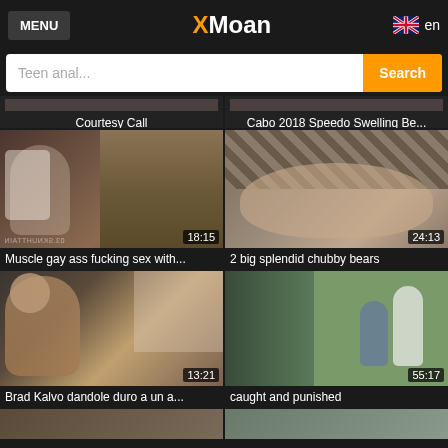MENU | XMoan | en
Teen anal... Search
Courtesy Call
Cabo 2018 Speedo Swelling Be...
[Figure (photo): Video thumbnail - man in white robe at door, duration 18:15, watermark TITTHUNKS.CO]
[Figure (photo): Video thumbnail - older man with grey beard, duration 24:13]
Muscle gay ass fucking sex with...
2 big splendid chubby bears
[Figure (photo): Video thumbnail - bearded muscular man, duration 13:21]
[Figure (photo): Video thumbnail - two men outdoors against green wall, duration 55:17]
Brad Kalvo dandole duro a un a...
caught and punished